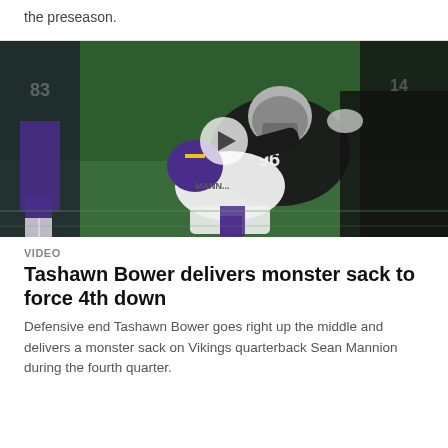the preseason.
[Figure (photo): Football action photo showing a Raiders defensive player #96 delivering a sack on a Vikings quarterback during a game, with a play button overlay indicating a video.]
VIDEO
Tashawn Bower delivers monster sack to force 4th down
Defensive end Tashawn Bower goes right up the middle and delivers a monster sack on Vikings quarterback Sean Mannion during the fourth quarter.